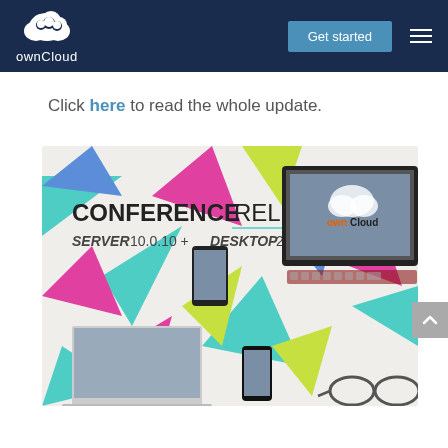[Figure (screenshot): ownCloud website header/navigation bar with logo, 'Get started' button, and hamburger menu on dark navy background]
Click here to read the whole update.
[Figure (photo): Conference release promotional image showing 'CONFERENCE RELEASE SERVER 10.0.10 + DESKTOP 2.5.0' text with colorful geometric triangles and ownCloud-branded devices (laptop, phone, tablet) arranged on a light background]